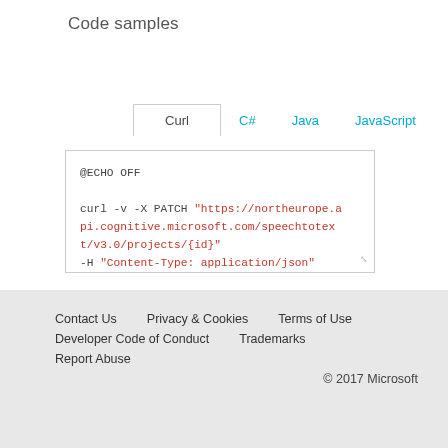Code samples
Curl | C# | Java | JavaScript | ObjC | PHP | Python | Ruby
[Figure (screenshot): Code editor box showing curl command: @ECHO OFF

curl -v -X PATCH "https://northeurope.api.cognitive.microsoft.com/speechtotext/v3.0/projects/{id}"
-H "Content-Type: application/json"
-H "Ocp-Apim-Subscription-Key: {subscription key}"

--data-ascii "{body}"]
Contact Us   Privacy & Cookies   Terms of Use   Developer Code of Conduct   Trademarks   Report Abuse   © 2017 Microsoft